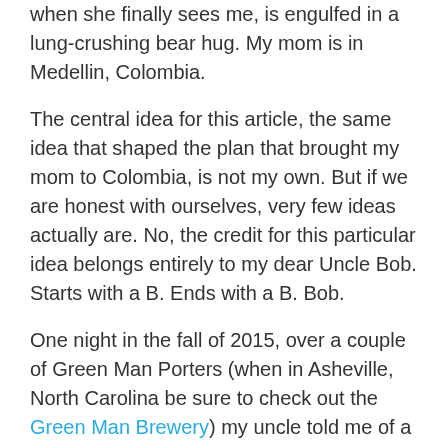when she finally sees me, is engulfed in a lung-crushing bear hug. My mom is in Medellin, Colombia.
The central idea for this article, the same idea that shaped the plan that brought my mom to Colombia, is not my own. But if we are honest with ourselves, very few ideas actually are. No, the credit for this particular idea belongs entirely to my dear Uncle Bob. Starts with a B. Ends with a B. Bob.
One night in the fall of 2015, over a couple of Green Man Porters (when in Asheville, North Carolina be sure to check out the Green Man Brewery) my uncle told me of a present that he and his brothers had once given each other.